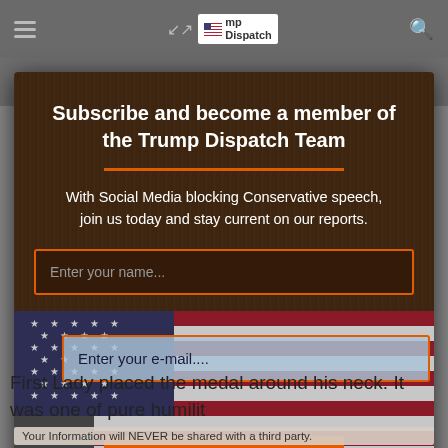Trump Dispatch
Subscribe and become a member of the Trump Dispatch Team
With Social Media blocking Conservative speech, join us today and stay current on our reports.
Enter your name...
Enter your e-mail....
SUBSCRIBE NOW!
First Lady placed the medal around his neck. It was one of pure humilit
Your Information will NEVER be shared with a third party.